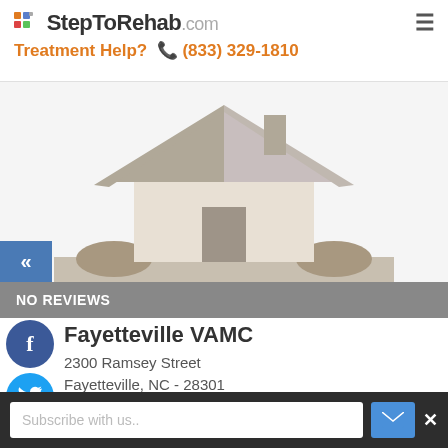StepToRehab.com Treatment Help? (833) 329-1810
[Figure (illustration): Generic house illustration with gray roof, beige walls, gray door, and grass/shrubs on white/light gray background]
NO REVIEWS
Fayetteville VAMC
2300 Ramsey Street
Fayetteville, NC - 28301
[Figure (illustration): Social media icons: Facebook (blue), Twitter (light blue), Google+ (red), LinkedIn (dark blue)]
Subscribe with us..